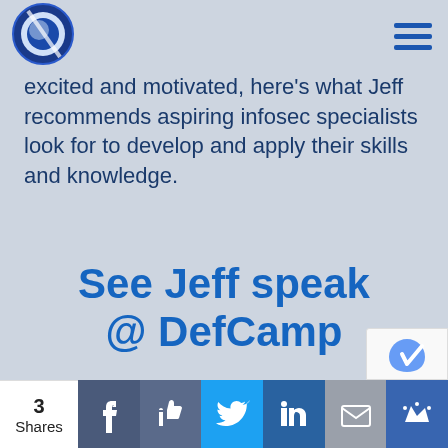[Figure (logo): Circular logo with blue and dark sphere design with a diagonal stripe]
excited and motivated, here's what Jeff recommends aspiring infosec specialists look for to develop and apply their skills and knowledge.
See Jeff speak @ DefCamp
Finding a
3 Shares | Facebook | Like | Twitter | LinkedIn | Email | Crown